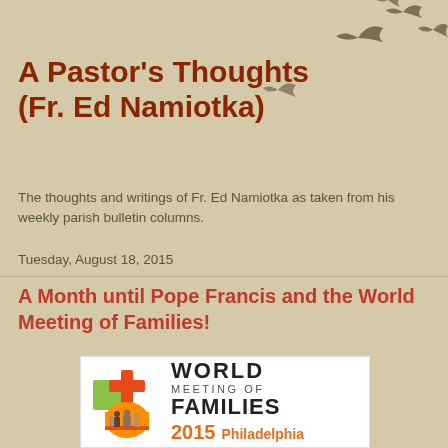[Figure (illustration): Decorative silhouette birds flying in upper right corner]
A Pastor's Thoughts (Fr. Ed Namiotka)
The thoughts and writings of Fr. Ed Namiotka as taken from his weekly parish bulletin columns.
Tuesday, August 18, 2015
A Month until Pope Francis and the World Meeting of Families!
[Figure (logo): World Meeting of Families 2015 Philadelphia logo with stylized bell and family figures]